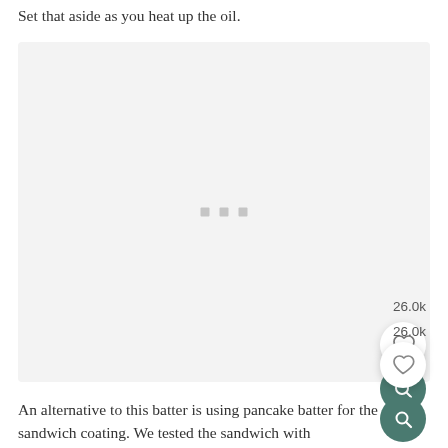Set that aside as you heat up the oil.
[Figure (photo): A light gray placeholder image box with three small gray squares centered in the middle, and a heart/like button (26.0k likes) and a search (magnify) button overlaid at the bottom right.]
An alternative to this batter is using pancake batter for the sandwich coating. We tested the sandwich with